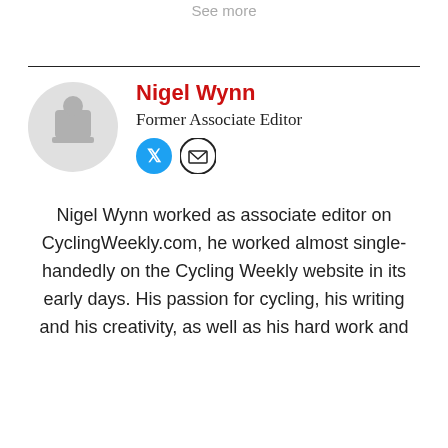See more
[Figure (illustration): Author profile section with circular avatar placeholder showing a person silhouette icon, author name 'Nigel Wynn' in red bold, title 'Former Associate Editor', and Twitter and email social icons]
Nigel Wynn worked as associate editor on CyclingWeekly.com, he worked almost single-handedly on the Cycling Weekly website in its early days. His passion for cycling, his writing and his creativity, as well as his hard work and